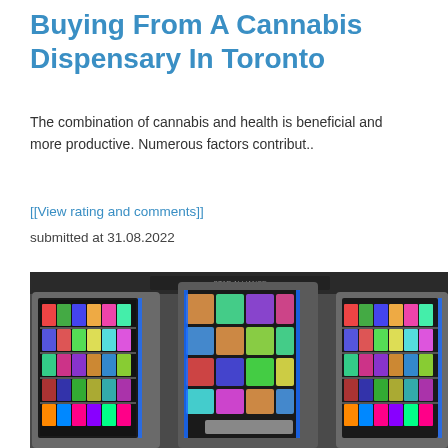Buying From A Cannabis Dispensary In Toronto
The combination of cannabis and health is beneficial and more productive. Numerous factors contribut..
[[View rating and comments]]
submitted at 31.08.2022
[Figure (photo): Three vending machines filled with colorful snack packages and drinks, illuminated with blue LED lighting, in what appears to be an airport or transit setting with a Star Alliance sign visible above.]